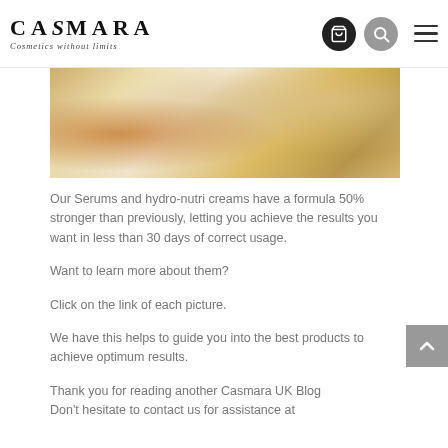CASMARA — Cosmetics without limits
[Figure (photo): Casmara skincare product bottles and golden box on a light surface]
Our Serums and hydro-nutri creams have a formula 50% stronger than previously, letting you achieve the results you want in less than 30 days of correct usage.
Want to learn more about them?
Click on the link of each picture.
We have this helps to guide you into the best products to achieve optimum results.
Thank you for reading another Casmara UK Blog Don't hesitate to contact us for assistance at